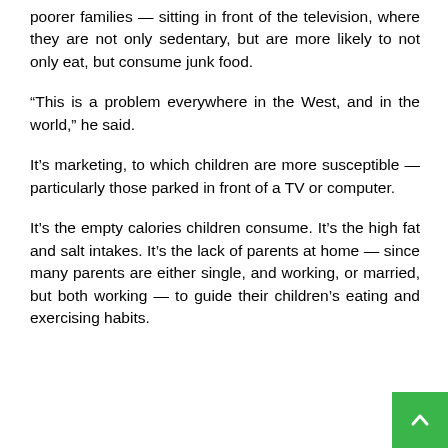poorer families — sitting in front of the television, where they are not only sedentary, but are more likely to not only eat, but consume junk food.
“This is a problem everywhere in the West, and in the world,” he said.
It’s marketing, to which children are more susceptible — particularly those parked in front of a TV or computer.
It’s the empty calories children consume. It’s the high fat and salt intakes. It’s the lack of parents at home — since many parents are either single, and working, or married, but both working — to guide their children’s eating and exercising habits.